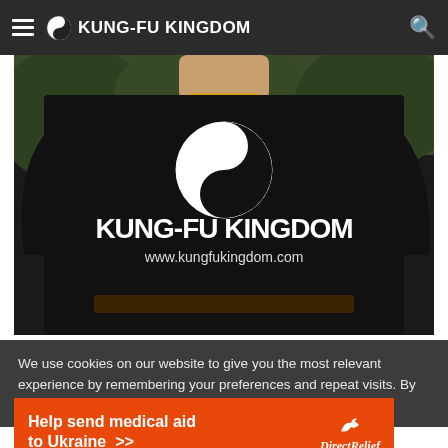KUNG-FU KINGDOM
[Figure (photo): Person wearing a black Kung-Fu Kingdom t-shirt with yin-yang logo and website www.kungfukingdom.com, photographed outdoors]
We use cookies on our website to give you the most relevant experience by remembering your preferences and repeat visits. By clicking "Accept", you consent to the use of ALL the
[Figure (infographic): Orange advertisement banner: 'Help send medical aid to Ukraine >>' with Direct Relief logo]